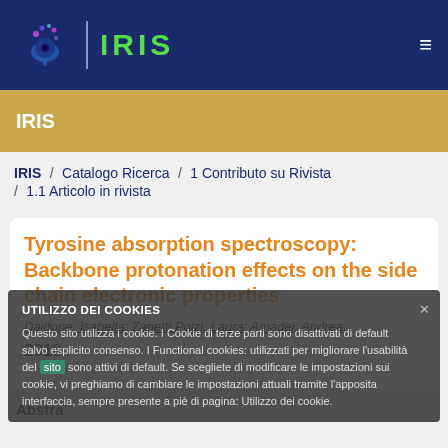[Figure (logo): IRIS repository logo with brain/eye icon and green IRIS text on dark navy background]
IRIS
IRIS / Catalogo Ricerca / 1 Contributo su Rivista / 1.1 Articolo in rivista
Tyrosine absorption spectroscopy: Backbone protonation effects on the side chain electronic properties
Daidone, Isabella; Zanetti Polzi, Laura; Amadei, Andrea;
2018
UTILIZZO DEI COOKIES
Questo sito utilizza i cookie. I Cookie di terze parti sono disattivati di default salvo esplicito consenso. I Functional cookies: utilizzati per migliorare l'usabilità del sito sono attivi di default. Se scegliete di modificare le impostazioni sui cookie, vi preghiamo di cambiare le impostazioni attuali tramite l'apposita interfaccia, sempre presente a piè di pagina: Utilizzo dei cookie.